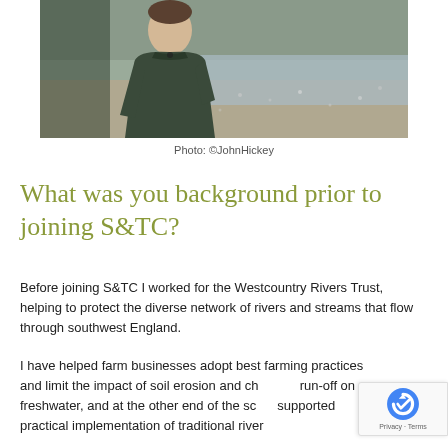[Figure (photo): A person in a dark green fleece jacket standing outdoors near a beach or shoreline with water and pebbles/sand visible in the background.]
Photo: ©JohnHickey
What was you background prior to joining S&TC?
Before joining S&TC I worked for the Westcountry Rivers Trust, helping to protect the diverse network of rivers and streams that flow through southwest England.
I have helped farm businesses adopt best farming practices and limit the impact of soil erosion and ch... run-off on freshwater, and at the other end of the sc... supported practical implementation of traditional river...